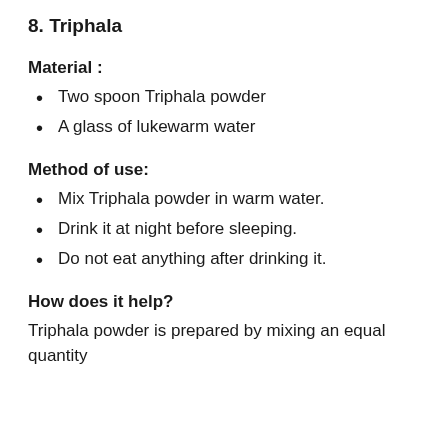8. Triphala
Material :
Two spoon Triphala powder
A glass of lukewarm water
Method of use:
Mix Triphala powder in warm water.
Drink it at night before sleeping.
Do not eat anything after drinking it.
How does it help?
Triphala powder is prepared by mixing an equal quantity